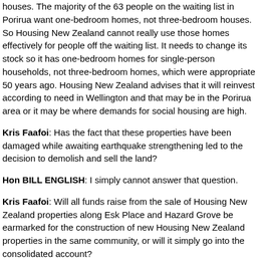houses. The majority of the 63 people on the waiting list in Porirua want one-bedroom homes, not three-bedroom houses. So Housing New Zealand cannot really use those homes effectively for people off the waiting list. It needs to change its stock so it has one-bedroom homes for single-person households, not three-bedroom homes, which were appropriate 50 years ago. Housing New Zealand advises that it will reinvest according to need in Wellington and that may be in the Porirua area or it may be where demands for social housing are high.
Kris Faafoi: Has the fact that these properties have been damaged while awaiting earthquake strengthening led to the decision to demolish and sell the land?
Hon BILL ENGLISH: I simply cannot answer that question.
Kris Faafoi: Will all funds raise from the sale of Housing New Zealand properties along Esk Place and Hazard Grove be earmarked for the construction of new Housing New Zealand properties in the same community, or will it simply go into the consolidated account?